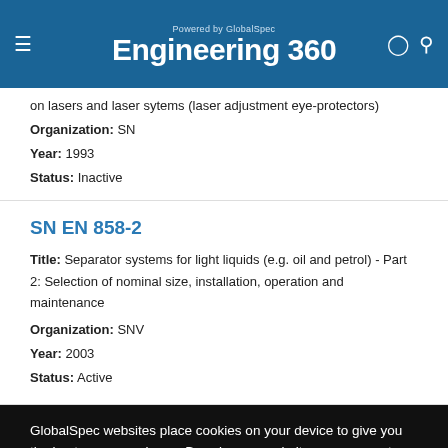Engineering 360 — Powered by GlobalSpec
on lasers and laser sytems (laser adjustment eye-protectors)
Organization: SN
Year: 1993
Status: Inactive
SN EN 858-2
Title: Separator systems for light liquids (e.g. oil and petrol) - Part 2: Selection of nominal size, installation, operation and maintenance
Organization: SNV
Year: 2003
Status: Active
GlobalSpec websites place cookies on your device to give you the best user experience. By using our websites, you agree to the placement of these cookies. To learn more, read our Privacy Policy
Accept & Close